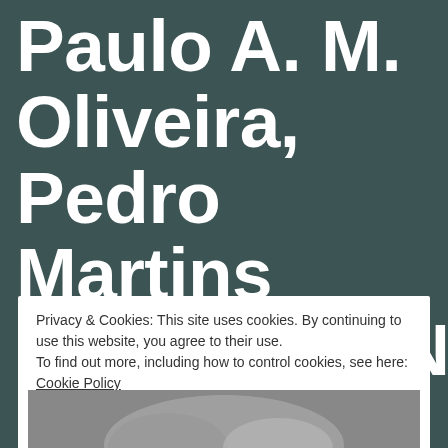Paulo A. M. Oliveira, Pedro Martins (HAUSCHEN)
Privacy & Cookies: This site uses cookies. By continuing to use this website, you agree to their use.
To find out more, including how to control cookies, see here: Cookie Policy
[Figure (photo): Black and white photo strip at the bottom of the page, partially visible]